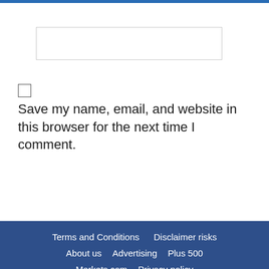[Figure (other): Empty text input field with light border]
[Figure (other): Unchecked checkbox]
Save my name, email, and website in this browser for the next time I comment.
[Figure (other): Green 'Post Comment' button]
Terms and Conditions   Disclaimer risks   About us   Advertising   Plus 500   Markets.com   Privacy policy